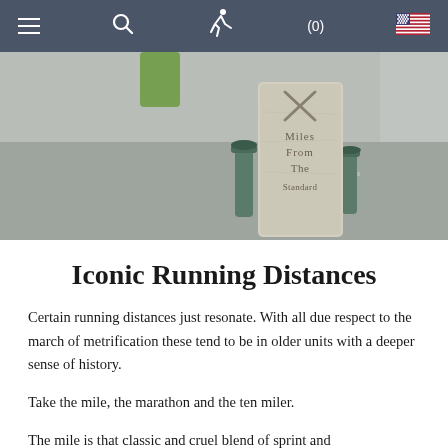≡  🔍  🏃  (0)  🇺🇸
[Figure (photo): Photograph of an old stone milestone with carved text reading 'Miles From The Standard' with an X mark at the top, set on a street with bollards visible.]
Iconic Running Distances
Certain running distances just resonate. With all due respect to the march of metrification these tend to be in older units with a deeper sense of history.
Take the mile, the marathon and the ten miler.
The mile is that classic and cruel blend of sprint and